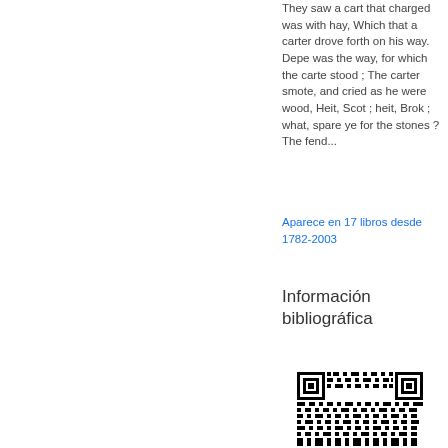They saw a cart that charged was with hay, Which that a carter drove forth on his way. Depe was the way, for which the carte stood ; The carter smote, and cried as he were wood, Heit, Scot ; heit, Brok ; what, spare ye for the stones ? The fend...
Aparece en 17 libros desde 1782-2003
Información bibliográfica
[Figure (other): QR code image]